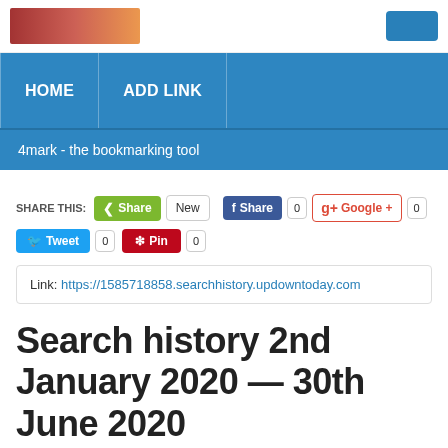[Figure (logo): Website logo image with decorative illustration and a blue button in the top right]
HOME   ADD LINK
4mark - the bookmarking tool
SHARE THIS: Share New Share 0 Google + 0 Tweet 0 Pin 0
Link: https://1585718858.searchhistory.updowntoday.com
Search history 2nd January 2020 — 30th June 2020